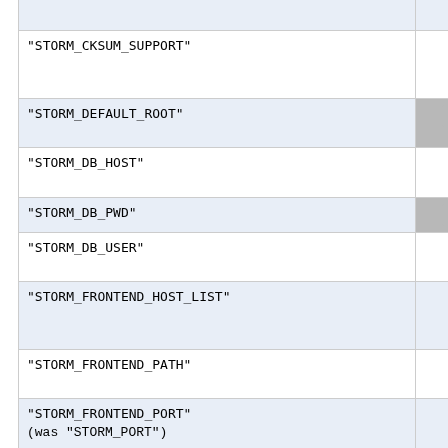| Name | Flag | Description |
| --- | --- | --- |
| (top row partial) |  | Default valu... |
| "STORM_CKSUM_SUPPORT" | O | Enable the...
Available va...
Default valu... |
| "STORM_DEFAULT_ROOT" | C | In ig-site-inf...
Default dire... |
| "STORM_DB_HOST" | O | Host for dat...
Default valu... |
| "STORM_DB_PWD" | C | Password f... |
| "STORM_DB_USER" | O | User for dat...
Default valu... |
| "STORM_FRONTEND_HOST_LIST" | O | StoRM Fro...
STORM_BA...
Default valu... |
| "STORM_FRONTEND_PATH" | O | StoRM Fro...
Default valu... |
| "STORM_FRONTEND_PORT"
(was "STORM_PORT") | O | StoRM Fro...
Default valu... |
| "STORM_FRONTEND_PUBLIC_HOST"
(was "STORM_ENDPOINT") | O | StoRM Fro...
Default valu... |